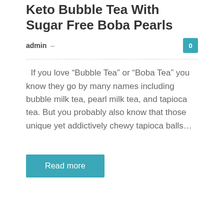Keto Bubble Tea With Sugar Free Boba Pearls
admin –
If you love “Bubble Tea” or “Boba Tea” you know they go by many names including bubble milk tea, pearl milk tea, and tapioca tea. But you probably also know that those unique yet addictively chewy tapioca balls…
Read more